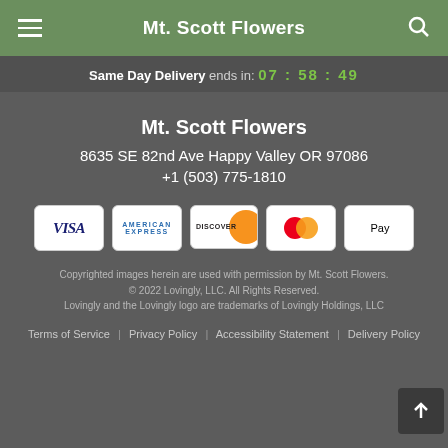Mt. Scott Flowers
Same Day Delivery ends in: 07 : 58 : 49
Mt. Scott Flowers
8635 SE 82nd Ave Happy Valley OR 97086
+1 (503) 775-1810
[Figure (other): Payment method icons: Visa, American Express, Discover, Mastercard, Apple Pay]
Copyrighted images herein are used with permission by Mt. Scott Flowers.
© 2022 Lovingly, LLC. All Rights Reserved.
Lovingly and the Lovingly logo are trademarks of Lovingly Holdings, LLC
Terms of Service | Privacy Policy | Accessibility Statement | Delivery Policy